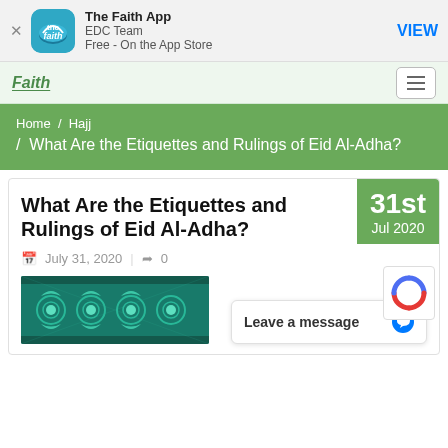[Figure (screenshot): App Store banner for The Faith App by EDC Team, Free on the App Store, with a VIEW button]
Faith
Home / Hajj / What Are the Etiquettes and Rulings of Eid Al-Adha?
What Are the Etiquettes and Rulings of Eid Al-Adha?
July 31, 2020 | 0
[Figure (photo): Decorative Islamic geometric pattern in teal and gold]
Leave a message